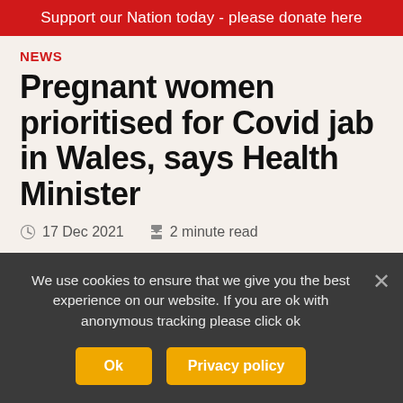Support our Nation today - please donate here
NEWS
Pregnant women prioritised for Covid jab in Wales, says Health Minister
17 Dec 2021   2 minute read
[Figure (photo): Partial photo of a pregnant woman, light-colored background with teal/blue tones]
We use cookies to ensure that we give you the best experience on our website. If you are ok with anonymous tracking please click ok